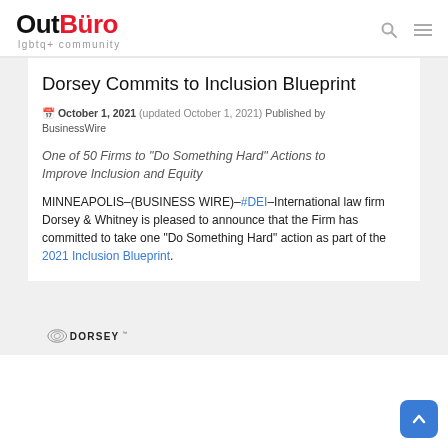OutBuro lgbtq+ community
Dorsey Commits to Inclusion Blueprint
October 1, 2021 (updated October 1, 2021) Published by BusinessWire
One of 50 Firms to "Do Something Hard" Actions to Improve Inclusion and Equity
MINNEAPOLIS-(BUSINESS WIRE)-#DEI-International law firm Dorsey & Whitney is pleased to announce that the Firm has committed to take one "Do Something Hard" action as part of the 2021 Inclusion Blueprint.
[Figure (logo): Dorsey law firm logo at bottom of page]